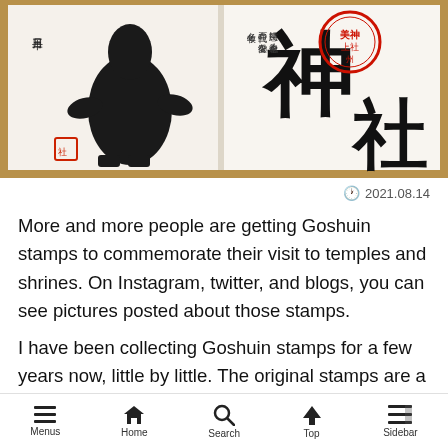[Figure (photo): Open goshuin stamp book showing two pages: left page has black ink stamped figure with red square seal and Japanese calligraphy, right page has large black kanji characters with red circular shrine seal]
🕐 2021.08.14
More and more people are getting Goshuin stamps to commemorate their visit to temples and shrines. On Instagram, twitter, and blogs, you can see pictures posted about those stamps.
I have been collecting Goshuin stamps for a few years now, little by little. The original stamps are a pleasure to look at and make a good souvenir of your trip.
Menus  Home  Search  Top  Sidebar